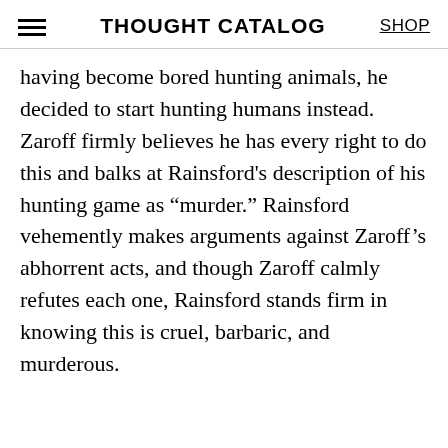THOUGHT CATALOG
having become bored hunting animals, he decided to start hunting humans instead. Zaroff firmly believes he has every right to do this and balks at Rainsford’s description of his hunting game as “murder.” Rainsford vehemently makes arguments against Zaroff’s abhorrent acts, and though Zaroff calmly refutes each one, Rainsford stands firm in knowing this is cruel, barbaric, and murderous.